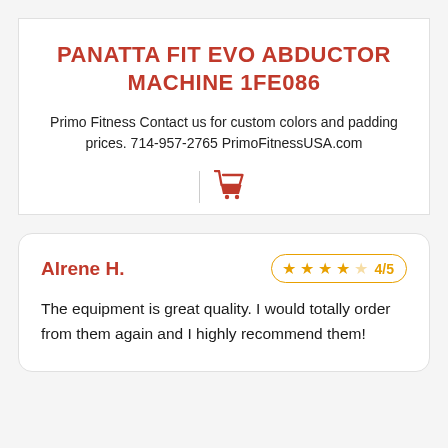PANATTA FIT EVO ABDUCTOR MACHINE 1FE086
Primo Fitness Contact us for custom colors and padding prices. 714-957-2765 PrimoFitnessUSA.com
[Figure (illustration): Red shopping cart icon with vertical divider line to the left]
Alrene H. — 4/5 stars — The equipment is great quality. I would totally order from them again and I highly recommend them!